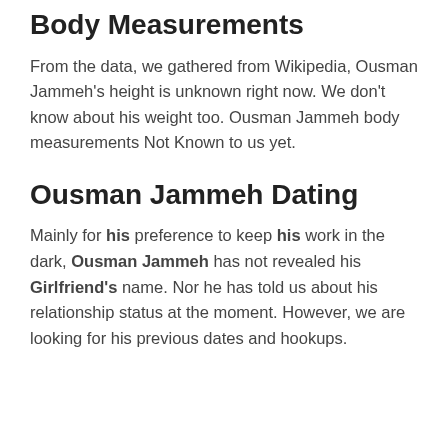Body Measurements
From the data, we gathered from Wikipedia, Ousman Jammeh's height is unknown right now. We don't know about his weight too. Ousman Jammeh body measurements Not Known to us yet.
Ousman Jammeh Dating
Mainly for his preference to keep his work in the dark, Ousman Jammeh has not revealed his Girlfriend's name. Nor he has told us about his relationship status at the moment. However, we are looking for his previous dates and hookups.